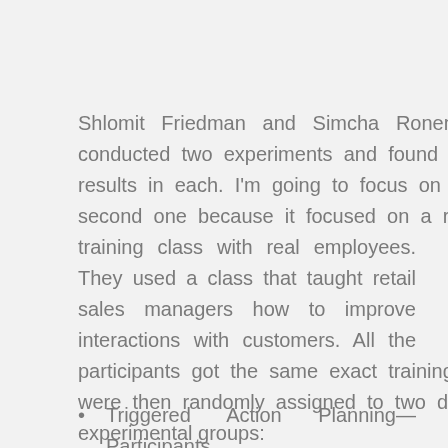Shlomit Friedman and Simcha Ronen conducted two experiments and found similar results in each. I'm going to focus on their second one because it focused on a real training class with real employees. They used a class that taught retail sales managers how to improve interactions with customers. All the participants got the same exact training and were then randomly assigned to two different experimental groups:
Triggered Action Planning—Participants